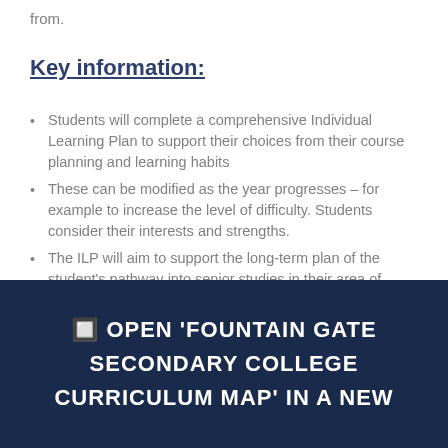from.
Key information:
Students will complete a comprehensive Individual Learning Plan to support their choices from their course planning and learning habits
These can be modified as the year progresses – for example to increase the level of difficulty. Students consider their interests and strengths.
The ILP will aim to support the long-term plan of the student's pathway into senior studies in their area of interest.
🔲 OPEN 'FOUNTAIN GATE SECONDARY COLLEGE CURRICULUM MAP' IN A NEW